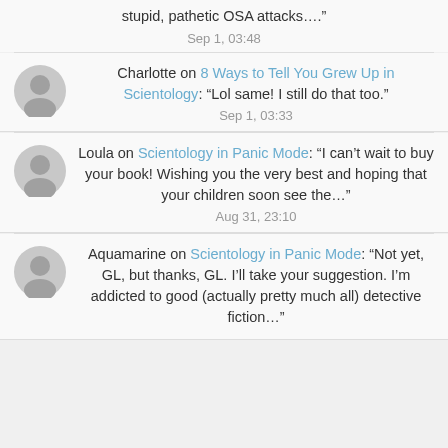stupid, pathetic OSA attacks…."
Sep 1, 03:48
Charlotte on 8 Ways to Tell You Grew Up in Scientology: "Lol same! I still do that too."
Sep 1, 03:33
Loula on Scientology in Panic Mode: "I can't wait to buy your book! Wishing you the very best and hoping that your children soon see the…"
Aug 31, 23:10
Aquamarine on Scientology in Panic Mode: "Not yet, GL, but thanks, GL. I'll take your suggestion. I'm addicted to good (actually pretty much all) detective fiction…."